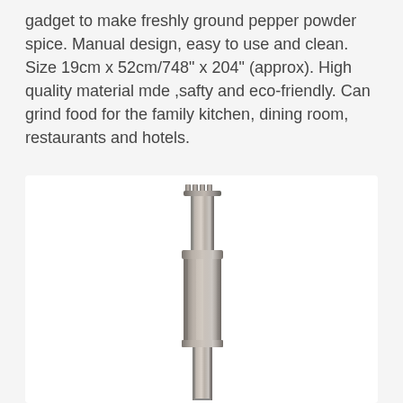gadget to make freshly ground pepper powder spice. Manual design, easy to use and clean. Size 19cm x 52cm/748" x 204" (approx). High quality material mde ,safty and eco-friendly. Can grind food for the family kitchen, dining room, restaurants and hotels.
[Figure (photo): A metallic stainless steel pepper grinder/mill component shown vertically. The piece has a cylindrical shaft with a wider flanged top section and a notched/serrated cap at the very top. The lower portion is a longer, thinner rod. The metal has a brushed nickel finish.]